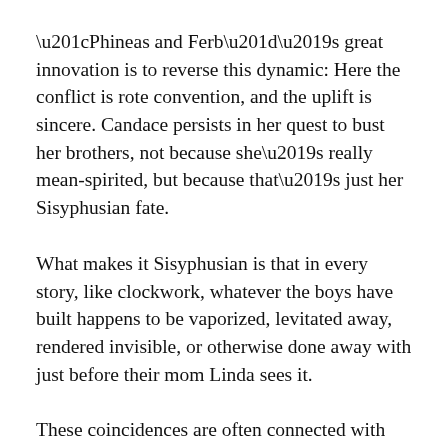“Phineas and Ferb”’s great innovation is to reverse this dynamic: Here the conflict is rote convention, and the uplift is sincere. Candace persists in her quest to bust her brothers, not because she’s really mean-spirited, but because that’s just her Sisyphusian fate.
What makes it Sisyphusian is that in every story, like clockwork, whatever the boys have built happens to be vaporized, levitated away, rendered invisible, or otherwise done away with just before their mom Linda sees it.
These coincidences are often connected with Doofenshmirtz’s failed schemes, although one of the show’s key formal principles is that Phineas, Ferb and Candace are unaware of Doofenshmirtz’s existence and vice versa, although they all live in the same city. The